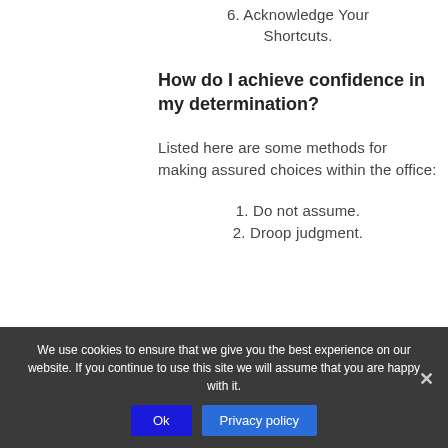6. Acknowledge Your Shortcuts.
How do I achieve confidence in my determination?
Listed here are some methods for making assured choices within the office:
1. Do not assume.
2. Droop judgment.
We use cookies to ensure that we give you the best experience on our website. If you continue to use this site we will assume that you are happy with it.